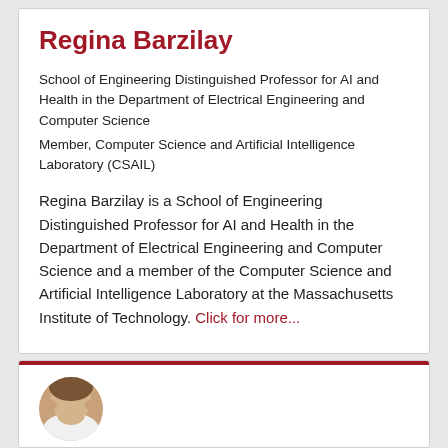Regina Barzilay
School of Engineering Distinguished Professor for AI and Health in the Department of Electrical Engineering and Computer Science
Member, Computer Science and Artificial Intelligence Laboratory (CSAIL)
Regina Barzilay is a School of Engineering Distinguished Professor for AI and Health in the Department of Electrical Engineering and Computer Science and a member of the Computer Science and Artificial Intelligence Laboratory at the Massachusetts Institute of Technology. Click for more...
[Figure (photo): Partial photo of a person at the bottom of the page, circular cropped avatar showing top of head with brown hair]